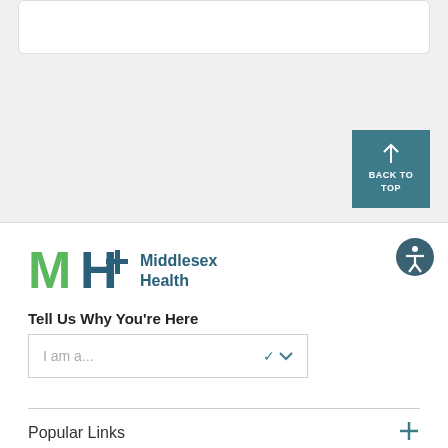[Figure (screenshot): Top card/panel with rounded corners and white background, partially visible at the top of the page]
[Figure (other): Back to Top button — teal square with up arrow and text BACK TO TOP in white]
[Figure (logo): Middlesex Health logo with green M and teal H+ symbol and text Middlesex Health]
[Figure (other): Accessibility icon — circular dark teal button with white person/accessibility symbol]
Tell Us Why You're Here
[Figure (other): Dropdown selector with placeholder text 'I am a...' and teal chevron]
Popular Links